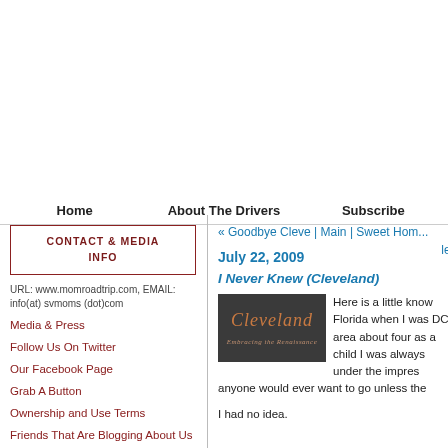Home | About The Drivers | Subscribe
CONTACT & MEDIA INFO
URL: www.momroadtrip.com, EMAIL: info(at) svmoms (dot)com
Media & Press
Follow Us On Twitter
Our Facebook Page
Grab A Button
Ownership and Use Terms
Friends That Are Blogging About Us
« Goodbye Cleve | Main | Sweet Hom... lef
July 22, 2009
I Never Knew (Cleveland)
[Figure (photo): Cleveland script logo on dark background]
Here is a little know... Florida when I was ... DC area about four ... as a child I was always under the impres... anyone would ever want to go unless the...
I had no idea.